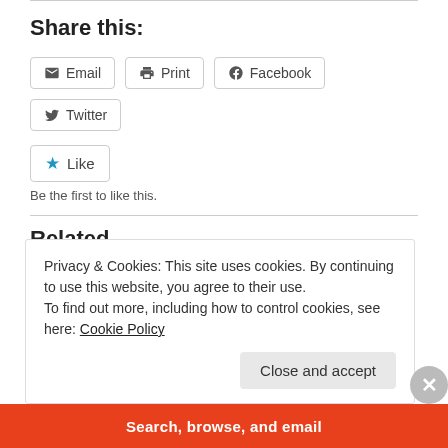Share this:
Email
Print
Facebook
Twitter
Like
Be the first to like this.
Related
No recap tonight
2008/02/19
Privacy & Cookies: This site uses cookies. By continuing to use this website, you agree to their use.
To find out more, including how to control cookies, see here: Cookie Policy
Close and accept